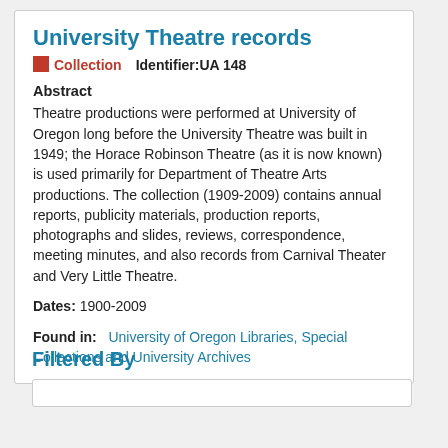University Theatre records
Collection   Identifier: UA 148
Abstract
Theatre productions were performed at University of Oregon long before the University Theatre was built in 1949; the Horace Robinson Theatre (as it is now known) is used primarily for Department of Theatre Arts productions. The collection (1909-2009) contains annual reports, publicity materials, production reports, photographs and slides, reviews, correspondence, meeting minutes, and also records from Carnival Theater and Very Little Theatre.
Dates: 1900-2009
Found in: University of Oregon Libraries, Special Collections and University Archives
Filtered By